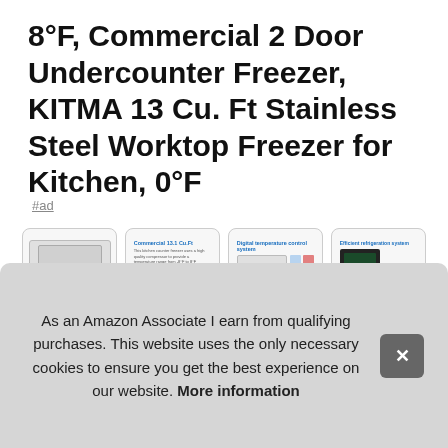8°F, Commercial 2 Door Undercounter Freezer, KITMA 13 Cu. Ft Stainless Steel Worktop Freezer for Kitchen, 0°F
#ad
[Figure (photo): Four product thumbnail images of a commercial undercounter freezer: spec sheet with dimensions, product features list with unit photo, digital temperature control system with colorful food grid, and efficient refrigeration system with open unit showing food inside.]
KITMA ... pho... ship... exte... with 430 and 304 type stainless steel, features an intuitive
As an Amazon Associate I earn from qualifying purchases. This website uses the only necessary cookies to ensure you get the best experience on our website. More information